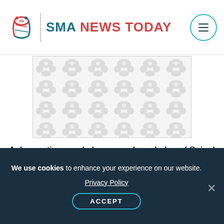SMA NEWS TODAY
[Figure (illustration): Placeholder image with repeating biological/cell pattern in light grey on white background]
Ask questions and share your knowledge of Spinal Muscular Atrophy in our forums.
I knew the consequences going in, so my Accutane
We use cookies to enhance your experience on our website. Privacy Policy ACCEPT